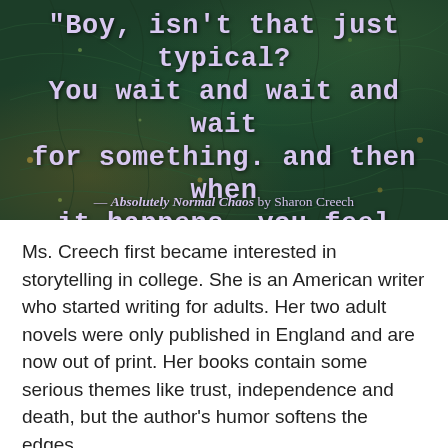[Figure (photo): Dark green feathery/nature background with a quote in light purple handwriting-style font: '"Boy, isn't that just typical? You wait and wait and wait for something. and then when it happens. you feel sad." — Absolutely Normal Chaos by Sharon Creech']
Ms. Creech first became interested in storytelling in college. She is an American writer who started writing for adults. Her two adult novels were only published in England and are now out of print. Her books contain some serious themes like trust, independence and death, but the author's humor softens the edges.
If you have not had the pleasure of reading Sharon